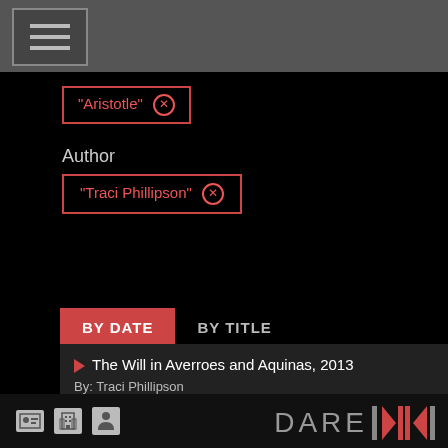[Figure (screenshot): Navigation hamburger menu button in grey bar]
"Aristotle" ⊗
Author
"Traci Phillipson" ⊗
BY DATE | BY TITLE
▶ The Will in Averroes and Aquinas, 2013
By: Traci Phillipson
PAGE 1 OF 1
DARE